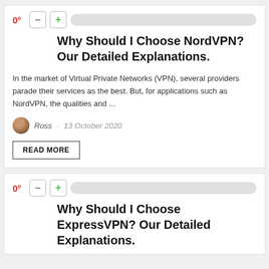[Figure (screenshot): Article card for NordVPN with voting controls (0°, minus, plus buttons and slider), title, excerpt, author info, and READ MORE button]
Why Should I Choose NordVPN? Our Detailed Explanations.
In the market of Virtual Private Networks (VPN), several providers parade their services as the best. But, for applications such as NordVPN, the qualities and ...
Ross · 13 October 2020
READ MORE
[Figure (screenshot): Partial article card for ExpressVPN with voting controls (0°, minus, plus buttons and slider) and partial title visible]
Why Should I Choose ExpressVPN? Our Detailed Explanations.